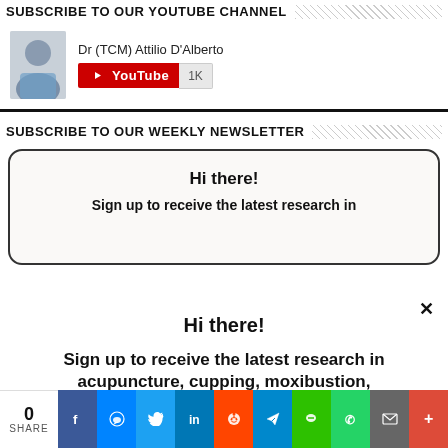SUBSCRIBE TO OUR YOUTUBE CHANNEL
[Figure (infographic): YouTube subscription widget with photo of Dr (TCM) Attilio D'Alberto, YouTube button with 1K subscriber count]
SUBSCRIBE TO OUR WEEKLY NEWSLETTER
Hi there!
Sign up to receive the latest research in
Hi there!
Sign up to receive the latest research in acupuncture, cupping, moxibustion, Chinese herbal medicine and more once a
[Figure (infographic): Social share bar with 0 shares and icons for Facebook, Messenger, Twitter, LinkedIn, Reddit, Telegram, WeChat, WhatsApp, Email, Plus]